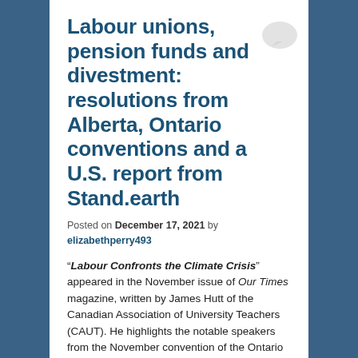Labour unions, pension funds and divestment: resolutions from Alberta, Ontario conventions and a U.S. report from Stand.earth
Posted on December 17, 2021 by elizabethperry493
“Labour Confronts the Climate Crisis” appeared in the November issue of Our Times magazine, written by James Hutt of the Canadian Association of University Teachers (CAUT). He highlights the notable speakers from the November convention of the Ontario Federation of Labour, but states that the main discussion at the convention focused on if and how unions can fight climate change through divestment, ethical investing, and active involvement in the investing funds they are part of.